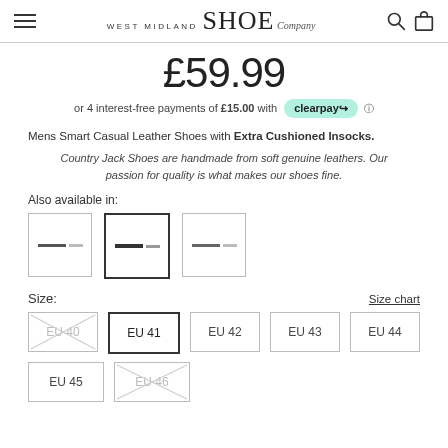West Midland Shoe Company
£59.99
or 4 interest-free payments of £15.00 with clearpay
Mens Smart Casual Leather Shoes with Extra Cushioned Insocks.
Country Jack Shoes are handmade from soft genuine leathers. Our passion for quality is what makes our shoes fine.
Also available in:
[Figure (other): Three color swatch boxes for shoe color selection, middle one selected with darker border]
Size:
Size chart
EU 40 (unavailable), EU 41 (selected), EU 42, EU 43, EU 44, EU 45, EU 46 (unavailable) size buttons